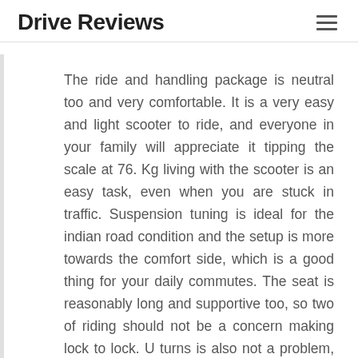Drive Reviews
The ride and handling package is neutral too and very comfortable. It is a very easy and light scooter to ride, and everyone in your family will appreciate it tipping the scale at 76. Kg living with the scooter is an easy task, even when you are stuck in traffic. Suspension tuning is ideal for the indian road condition and the setup is more towards the comfort side, which is a good thing for your daily commutes. The seat is reasonably long and supportive too, so two of riding should not be a concern making lock to lock. U turns is also not a problem, as the handlebar does not foul, with the riders knees. Tubeless tires front, disc, brake and a rear drum brake, ensure that you are aware of what the scooter is doing at all times. Braking